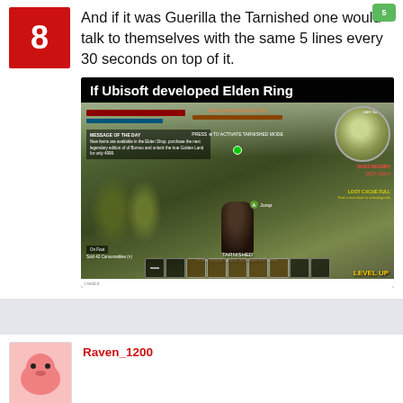[Figure (illustration): Red square avatar with number 8 in white]
And if it was Guerilla the Tarnished one would talk to themselves with the same 5 lines every 30 seconds on top of it.
[Figure (screenshot): Screenshot of a meme/image titled 'If Ubisoft developed Elden Ring' showing a modified Elden Ring gameplay HUD with Ubisoft-style UI elements including minimap, health bar, hotbar, TARNISHED label, jump prompt, and LEVEL UP text]
[Figure (illustration): Pink round avatar partially visible at bottom of page]
Username in red text at bottom, partially cut off